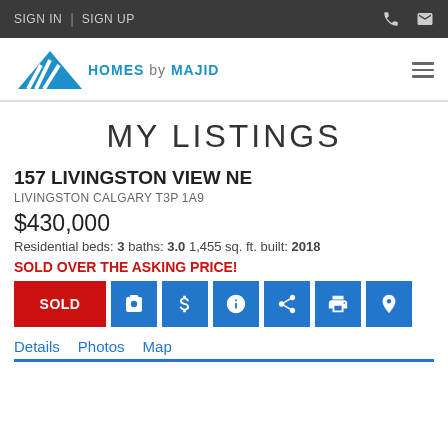SIGN IN | SIGN UP
[Figure (logo): Homes by Majid logo with blue triangle/chevron icon and blue text]
MY LISTINGS
157 LIVINGSTON VIEW NE
LIVINGSTON CALGARY T3P 1A9
$430,000
Residential beds: 3 baths: 3.0 1,455 sq. ft. built: 2018
SOLD OVER THE ASKING PRICE!
SOLD
Details  Photos  Map